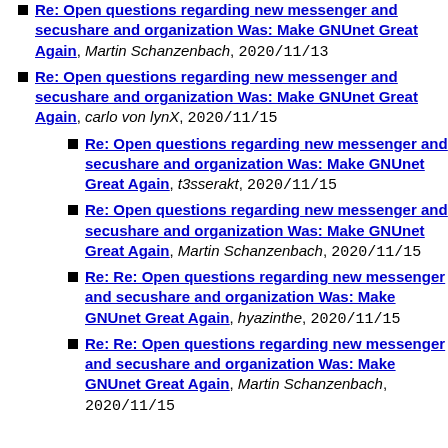Re: Open questions regarding new messenger and secushare and organization Was: Make GNUnet Great Again, Martin Schanzenbach, 2020/11/13
Re: Open questions regarding new messenger and secushare and organization Was: Make GNUnet Great Again, carlo von lynX, 2020/11/15
Re: Open questions regarding new messenger and secushare and organization Was: Make GNUnet Great Again, t3sserakt, 2020/11/15
Re: Open questions regarding new messenger and secushare and organization Was: Make GNUnet Great Again, Martin Schanzenbach, 2020/11/15
Re: Re: Open questions regarding new messenger and secushare and organization Was: Make GNUnet Great Again, hyazinthe, 2020/11/15
Re: Re: Open questions regarding new messenger and secushare and organization Was: Make GNUnet Great Again, Martin Schanzenbach, 2020/11/15